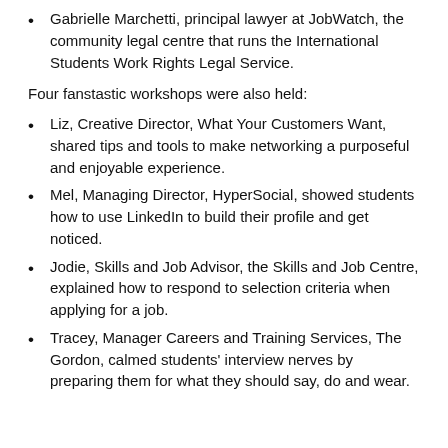Gabrielle Marchetti, principal lawyer at JobWatch, the community legal centre that runs the International Students Work Rights Legal Service.
Four fanstastic workshops were also held:
Liz, Creative Director, What Your Customers Want, shared tips and tools to make networking a purposeful and enjoyable experience.
Mel, Managing Director, HyperSocial, showed students how to use LinkedIn to build their profile and get noticed.
Jodie, Skills and Job Advisor, the Skills and Job Centre, explained how to respond to selection criteria when applying for a job.
Tracey, Manager Careers and Training Services, The Gordon, calmed students' interview nerves by preparing them for what they should say, do and wear.